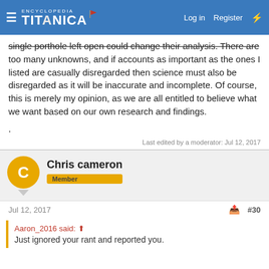Encyclopedia Titanica — Log in | Register
single porthole left open could change their analysis. There are too many unknowns, and if accounts as important as the ones I listed are casually disregarded then science must also be disregarded as it will be inaccurate and incomplete. Of course, this is merely my opinion, as we are all entitled to believe what we want based on our own research and findings.
.
Last edited by a moderator: Jul 12, 2017
Chris cameron
Member
Jul 12, 2017  #30
Aaron_2016 said:
Just ignored your rant and reported you.